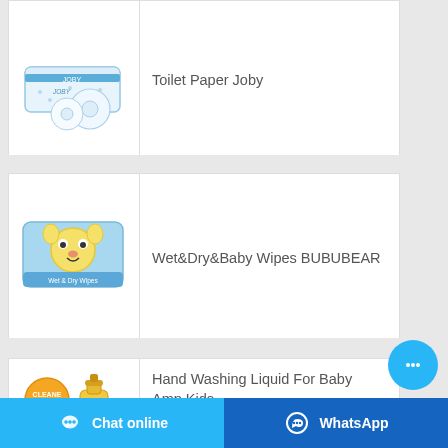[Figure (photo): Toilet Paper Joby product image - white and blue packaging]
Toilet Paper Joby
[Figure (photo): Wet&Dry&Baby Wipes BUBUBEAR product image - blue packaging]
Wet&Dry&Baby Wipes BUBUBEAR
[Figure (photo): Hand Washing Liquid For Baby Amp Kids product image - orange logo and yellow dispenser]
Hand Washing Liquid For Baby Amp Kids
Chat online
WhatsApp